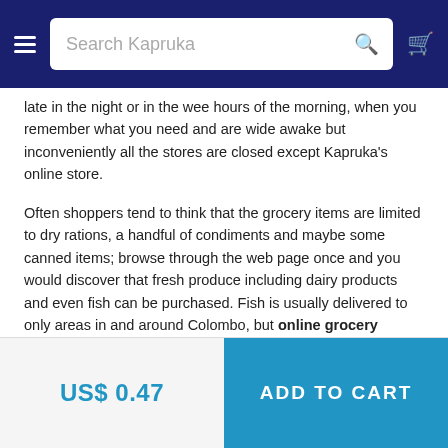Search Kapruka
late in the night or in the wee hours of the morning, when you remember what you need and are wide awake but inconveniently all the stores are closed except Kapruka's online store.
Often shoppers tend to think that the grocery items are limited to dry rations, a handful of condiments and maybe some canned items; browse through the web page once and you would discover that fresh produce including dairy products and even fish can be purchased. Fish is usually delivered to only areas in and around Colombo, but online grocery delivery to other parts of Sri Lanka is very much on the cards for items that are not so easily perishable.
Gone are the days where people used to shop online for only a few specific items, instead, Kapruka has brought to everyone's screen a host of goods and a complete online shopping experience where the online price is often more reasonable than a conventional store.
US$ 0.47
ADD TO CART